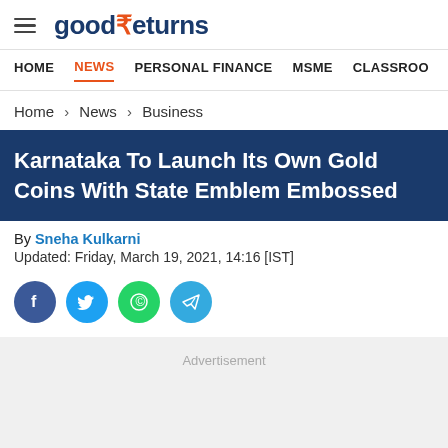goodReturns
HOME | NEWS | PERSONAL FINANCE | MSME | CLASSROOM
Home > News > Business
Karnataka To Launch Its Own Gold Coins With State Emblem Embossed
By Sneha Kulkarni
Updated: Friday, March 19, 2021, 14:16 [IST]
[Figure (infographic): Social share icons: Facebook, Twitter, WhatsApp, Telegram]
Advertisement